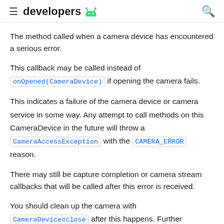developers
The method called when a camera device has encountered a serious error.
This callback may be called instead of onOpened(CameraDevice) if opening the camera fails.
This indicates a failure of the camera device or camera service in some way. Any attempt to call methods on this CameraDevice in the future will throw a CameraAccessException with the CAMERA_ERROR reason.
There may still be capture completion or camera stream callbacks that will be called after this error is received.
You should clean up the camera with CameraDevice#close after this happens. Further